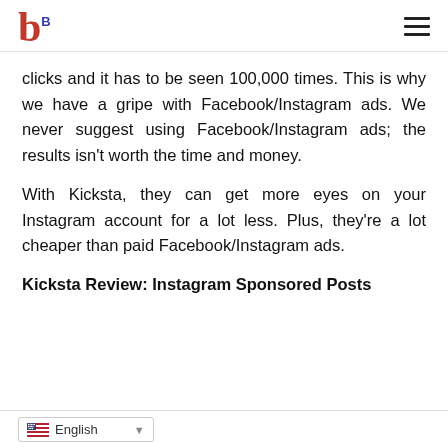b [logo]
clicks and it has to be seen 100,000 times. This is why we have a gripe with Facebook/Instagram ads. We never suggest using Facebook/Instagram ads; the results isn't worth the time and money.
With Kicksta, they can get more eyes on your Instagram account for a lot less. Plus, they're a lot cheaper than paid Facebook/Instagram ads.
Kicksta Review: Instagram Sponsored Posts